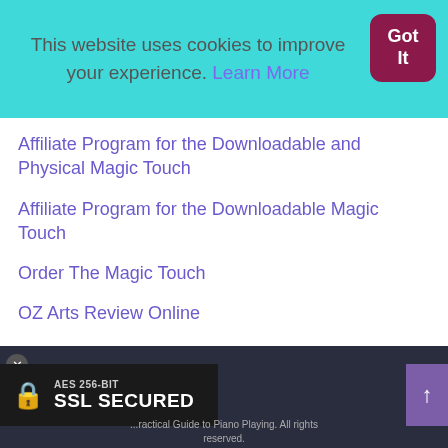This website uses cookies to improve your experience. Learn More
Affiliate Program for the Downloadable and Physical Magic Touch
Affiliate Program for the Downloadable Magic Touch
Order The Magic Touch
OZ Arts Review Online
Remarks about Wallace Tate and Lionel Bowman
AES 256-BIT SSL SECURED ... Practical Guide to Piano Playing. All rights reserved.